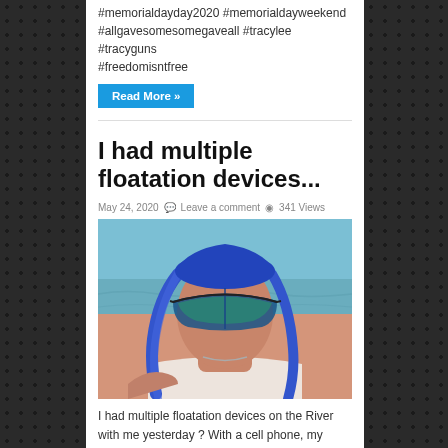#memorialdayday2020 #memorialdayweekend #allgavesomesomegaveall #tracylee #tracyguns #freedomisntfree
Read More »
I had multiple floatation devices...
May 24, 2020  Leave a comment  341 Views
[Figure (photo): Woman with blue braided hair and blue mirrored shield sunglasses near water]
I had multiple floatation devices on the River with me yesterday ? With a cell phone, my @bastinelliknives karambit and a battery bank in